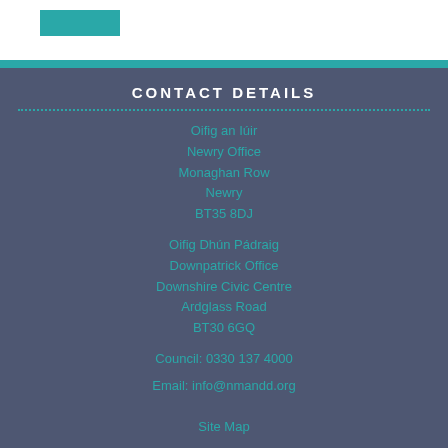CONTACT DETAILS
Oifig an Iúir
Newry Office
Monaghan Row
Newry
BT35 8DJ
Oifig Dhún Pádraig
Downpatrick Office
Downshire Civic Centre
Ardglass Road
BT30 6GQ
Council: 0330 137 4000
Email: info@nmandd.org
Site Map
Web Design by ITS